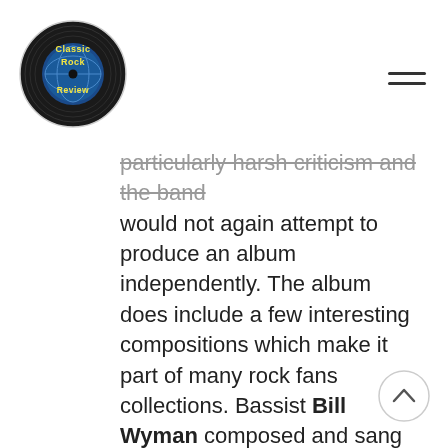Classic Rock Review
particularly harsh criticism and the band would not again attempt to produce an album independently. The album does include a few interesting compositions which make it part of many rock fans collections. Bassist Bill Wyman composed and sang vocals on “In Another Land”, which was allegedly about the fact that Wyman was the only band member who didn’t take L.S.D. at the time. It was released as a single but credited to Bill Wyman and not The Rolling Stones. “Citadel” contains a catchy guitar riff, which is unfortunately offset by an overkill of effects. “2000 Man” starts off acoustic with a beat and